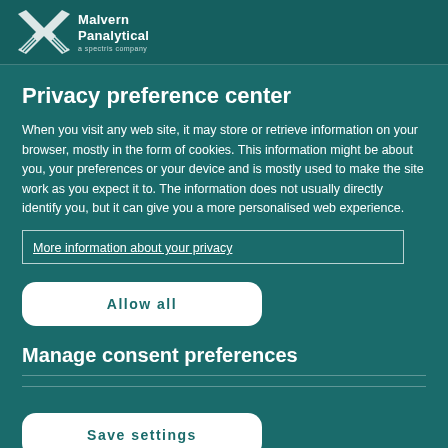[Figure (logo): Malvern Panalytical logo — stylized X icon in white on teal background with text 'Malvern Panalytical' and 'a spectris company']
Privacy preference center
When you visit any web site, it may store or retrieve information on your browser, mostly in the form of cookies. This information might be about you, your preferences or your device and is mostly used to make the site work as you expect it to. The information does not usually directly identify you, but it can give you a more personalised web experience.
More information about your privacy
Allow all
Manage consent preferences
Save settings